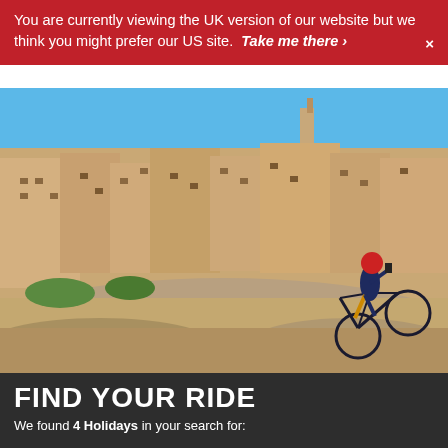You are currently viewing the UK version of our website but we think you might prefer our US site. Take me there › ×
[Figure (photo): A cyclist wearing a red helmet and dark blue jersey stands with their road bike on rocky terrain overlooking the ancient stone city of Matera, Italy, with buildings carved into hillsides under a blue sky.]
FIND YOUR RIDE
We found 4 Holidays in your search for: